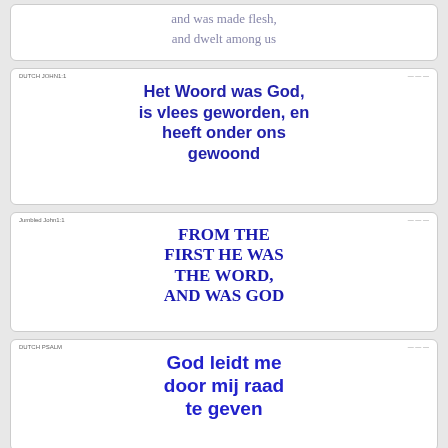and was made flesh, and dwelt among us
DUTCH JOHN1:1  |  Het Woord was God, is vlees geworden, en heeft onder ons gewoond
Jumbled John1:1  |  FROM THE FIRST HE WAS THE WORD, AND WAS GOD
DUTCH PSALM  |  God leidt me door mij raad te geven
DUTCH MARK1  |  (partial text visible)